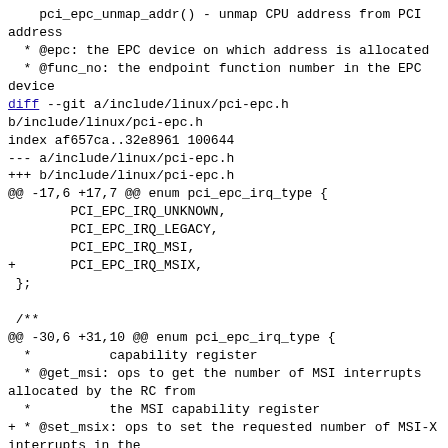pci_epc_unmap_addr() - unmap CPU address from PCI address
 * @epc: the EPC device on which address is allocated
 * @func_no: the endpoint function number in the EPC device
diff --git a/include/linux/pci-epc.h b/include/linux/pci-epc.h
index af657ca..32e8961 100644
--- a/include/linux/pci-epc.h
+++ b/include/linux/pci-epc.h
@@ -17,6 +17,7 @@ enum pci_epc_irq_type {
        PCI_EPC_IRQ_UNKNOWN,
        PCI_EPC_IRQ_LEGACY,
        PCI_EPC_IRQ_MSI,
+       PCI_EPC_IRQ_MSIX,
 };

 /**
@@ -30,6 +31,10 @@ enum pci_epc_irq_type {
  *          capability register
  * @get_msi: ops to get the number of MSI interrupts allocated by the RC from
  *          the MSI capability register
+ * @set_msix: ops to set the requested number of MSI-X interrupts in the
+ *          MSI-X capability register
+ * @get_msix: ops to get the number of MSI-X interrupts allocated by the RC
+ *          from the MSI-X capability register
  * @raise_irq: ops to raise a legacy or MSI interrupt
  * @start: ops to start the PCI link